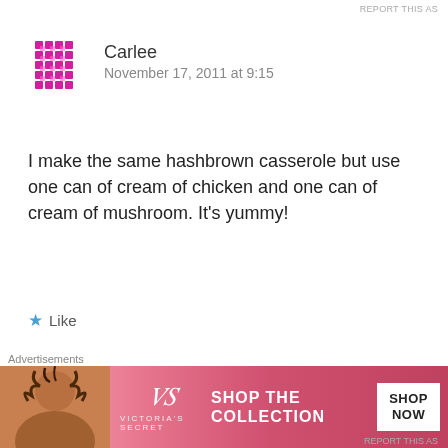REPORT THIS AS
[Figure (other): Pink magenta avatar icon with diamond/cross pattern for user Carlee]
Carlee
November 17, 2011 at 9:15
I make the same hashbrown casserole but use one can of cream of chicken and one can of cream of mushroom. It's yummy!
★ Like
Reply ↓
[Figure (photo): Small thumbnail photo of a cupcake/dessert for user nancyc]
nancyc POST AUTHOR
November 18, 2011 at 6:50
Advertisements
[Figure (other): Victoria's Secret advertisement banner: pink background with model photo, VS logo, SHOP THE COLLECTION text, and SHOP NOW button]